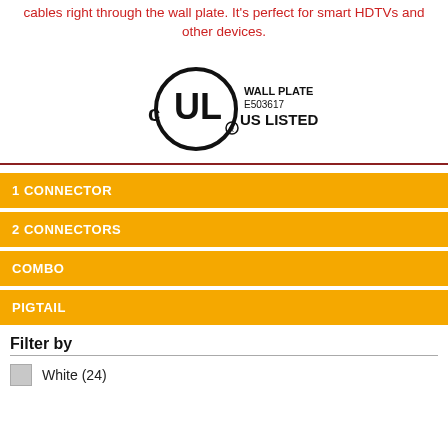cables right through the wall plate. It's perfect for smart HDTVs and other devices.
[Figure (logo): UL Listed certification logo with text: WALL PLATE E503617 C UL US LISTED]
1 CONNECTOR
2 CONNECTORS
COMBO
PIGTAIL
Filter by
White (24)